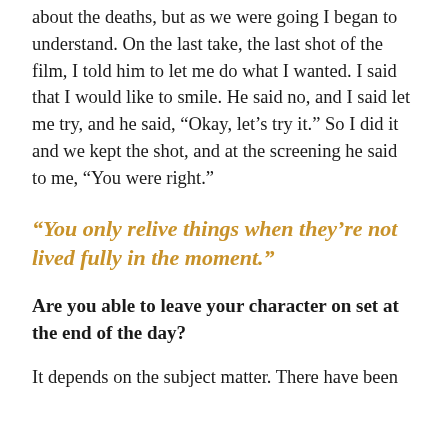about the deaths, but as we were going I began to understand. On the last take, the last shot of the film, I told him to let me do what I wanted. I said that I would like to smile. He said no, and I said let me try, and he said, “Okay, let’s try it.” So I did it and we kept the shot, and at the screening he said to me, “You were right.”
“You only relive things when they’re not lived fully in the moment.”
Are you able to leave your character on set at the end of the day?
It depends on the subject matter. There have been